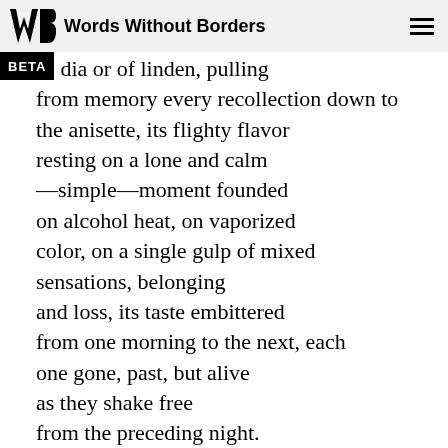Words Without Borders
dia or of linden, pulling
from memory every recollection down to
the anisette, its flighty flavor
resting on a lone and calm
—simple—moment founded
on alcohol heat, on vaporized
color, on a single gulp of mixed
sensations, belonging
and loss, its taste embittered
from one morning to the next, each
one gone, past, but alive
as they shake free
from the preceding night.